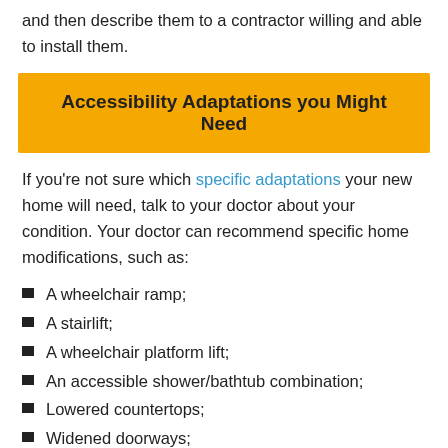and then describe them to a contractor willing and able to install them.
Accessibility Adaptations you Might Need
If you're not sure which specific adaptations your new home will need, talk to your doctor about your condition. Your doctor can recommend specific home modifications, such as:
A wheelchair ramp;
A stairlift;
A wheelchair platform lift;
An accessible shower/bathtub combination;
Lowered countertops;
Widened doorways;